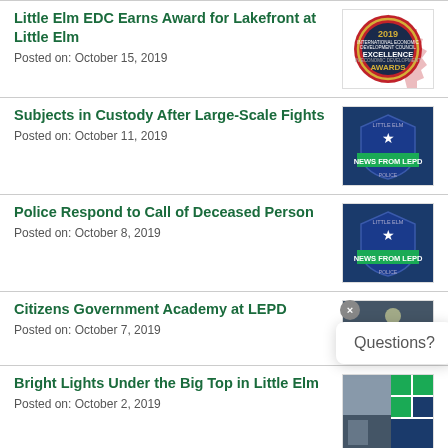Little Elm EDC Earns Award for Lakefront at Little Elm
Posted on: October 15, 2019
Subjects in Custody After Large-Scale Fights
Posted on: October 11, 2019
Police Respond to Call of Deceased Person
Posted on: October 8, 2019
Citizens Government Academy at LEPD
Posted on: October 7, 2019
Bright Lights Under the Big Top in Little Elm
Posted on: October 2, 2019
[Figure (logo): 2019 Excellence Awards badge - red and gold circular badge]
[Figure (logo): News From LEPD - blue police shield badge]
[Figure (logo): News From LEPD - blue police shield badge]
[Figure (photo): Night photo partially visible, building with lights]
[Figure (logo): Green and navy blue logo tiles]
Questions?